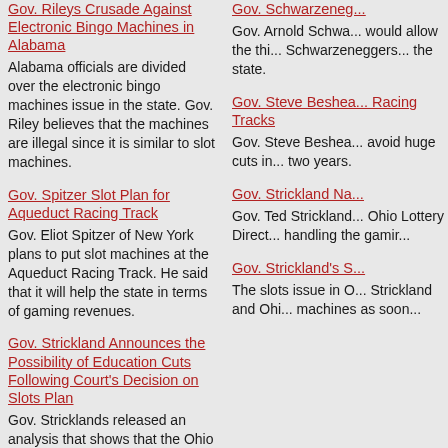Gov. Rileys Crusade Against Electronic Bingo Machines in Alabama
Alabama officials are divided over the electronic bingo machines issue in the state. Gov. Riley believes that the machines are illegal since it is similar to slot machines.
Gov. Schwarzenegger...
Gov. Arnold Schwa... would allow the thi... Schwarzeneggers... the state.
Gov. Spitzer Slot Plan for Aqueduct Racing Track
Gov. Eliot Spitzer of New York plans to put slot machines at the Aqueduct Racing Track. He said that it will help the state in terms of gaming revenues.
Gov. Steve Beshea... Racing Tracks
Gov. Steve Beshea... avoid huge cuts in... two years.
Gov. Strickland Announces the Possibility of Education Cuts Following Court's Decision on Slots Plan
Gov. Stricklands released an analysis that shows that the Ohio education will take a big hit because of the decision on the slots plan. State agencies may also suffer cuts of $850 million.
Gov. Strickland Na...
Gov. Ted Strickland... Ohio Lottery Direct... handling the gamir...
Gov. Strickland and Ohio Lawmakers Tries to Solve Budget Problems
Ohio lawmakers and Gov. Strickland are currently trying to solve the budget deficit. Gov. Strickland said that the deficit will be solve if only the state legislature will approve it.
Gov. Strickland's S...
The slots issue in O... Strickland and Ohi... machines as soon...